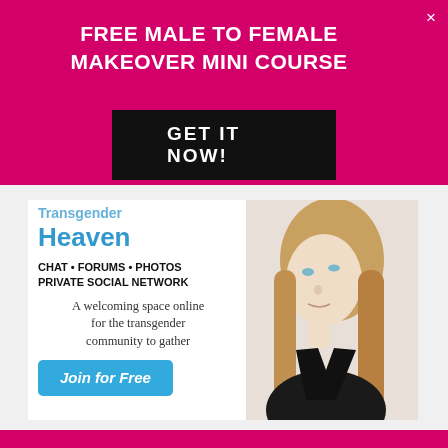FREE MALE TO FEMALE MAKEOVER MINI COURSE
GET IT NOW!
[Figure (screenshot): Advertisement for Transgender Heaven website showing a young woman with blonde hair. Text reads: Transgender Heaven, CHAT • FORUMS • PHOTOS, PRIVATE SOCIAL NETWORK, A welcoming space online for the transgender community to gather, Join for Free button.]
×